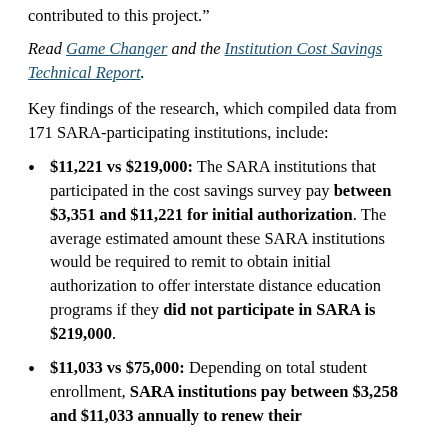contributed to this project.”
Read Game Changer and the Institution Cost Savings Technical Report.
Key findings of the research, which compiled data from 171 SARA-participating institutions, include:
$11,221 vs $219,000: The SARA institutions that participated in the cost savings survey pay between $3,351 and $11,221 for initial authorization. The average estimated amount these SARA institutions would be required to remit to obtain initial authorization to offer interstate distance education programs if they did not participate in SARA is $219,000.
$11,033 vs $75,000: Depending on total student enrollment, SARA institutions pay between $3,258 and $11,033 annually to renew their